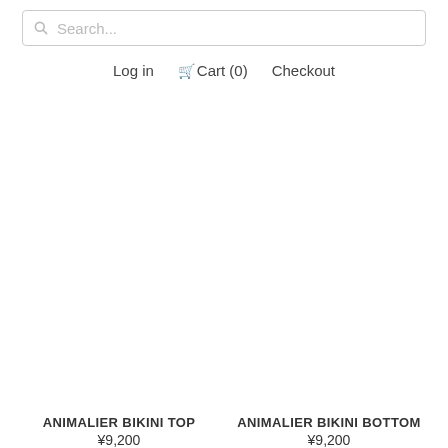Search...
Log in  Cart (0)  Checkout
[Figure (photo): Product image placeholder for ANIMALIER BIKINI TOP (white/blank)]
ANIMALIER BIKINI TOP
¥9,200
[Figure (photo): Product image placeholder for ANIMALIER BIKINI BOTTOM (white/blank)]
ANIMALIER BIKINI BOTTOM
¥9,200